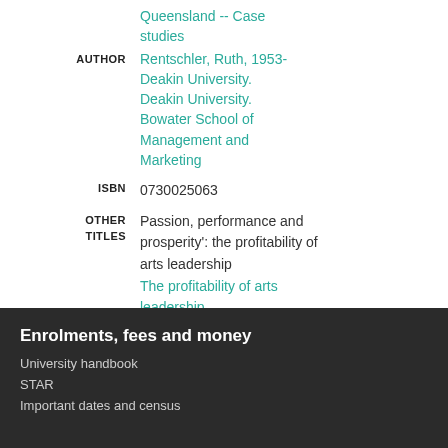Queensland -- Case studies
AUTHOR  Rentschler, Ruth, 1953-
Deakin University.
Deakin University. Bowater School of Management and Marketing
ISBN  0730025063
OTHER TITLES  Passion, performance and prosperity': the profitability of arts leadership
The profitability of arts leadership
Enrolments, fees and money
University handbook
STAR
Important dates and census